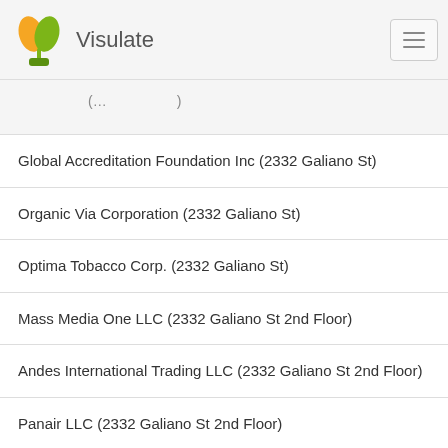Visulate
Global Accreditation Foundation Inc (2332 Galiano St)
Organic Via Corporation (2332 Galiano St)
Optima Tobacco Corp. (2332 Galiano St)
Mass Media One LLC (2332 Galiano St 2nd Floor)
Andes International Trading LLC (2332 Galiano St 2nd Floor)
Panair LLC (2332 Galiano St 2nd Floor)
Natural Food Distributors LLC (2332 Galiano St 2nd Floor)
Inversiones D-03, LLC (2332 Galiano St Second Floor)
Ganeshas Grace LLC (2332 Galiano St Second Floor)